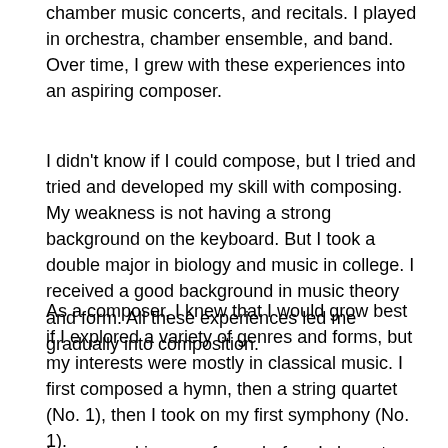chamber music concerts, and recitals. I played in orchestra, chamber ensemble, and band. Over time, I grew with these experiences into an aspiring composer.
I didn't know if I could compose, but I tried and tried and developed my skill with composing. My weakness is not having a strong background on the keyboard. But I took a double major in biology and music in college. I received a good background in music theory and form. All these experiences led me gradually into composition.
As a composer, I knew that I would grow best if I explored a variety of genres and forms, but my interests were mostly in classical music. I first composed a hymn, then a string quartet (No. 1), then I took on my first symphony (No. 1).
I composed in many forms before I chose to compose for the clarinet. Listening to clarinet recitals and chamber music inspired me tremendously. I wanted to try composing for clarinet and string quartet.
I've always loved the clarinet, having played it as my first...